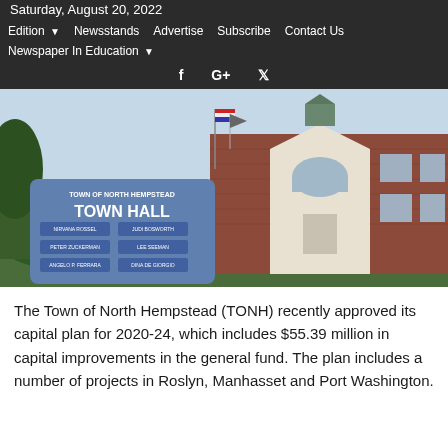Saturday, August 20, 2022
Edition  Newsstands  Advertise  Subscribe  Contact Us  Newspaper In Education
f  G+  Twitter
[Figure (photo): Exterior photo of Town of North Hempstead Town Hall building with sign in foreground listing town officials, American and other flags flying, brick building with white portico entrance.]
The Town of North Hempstead (TONH) recently approved its capital plan for 2020-24, which includes $55.39 million in capital improvements in the general fund. The plan includes a number of projects in Roslyn, Manhasset and Port Washington.